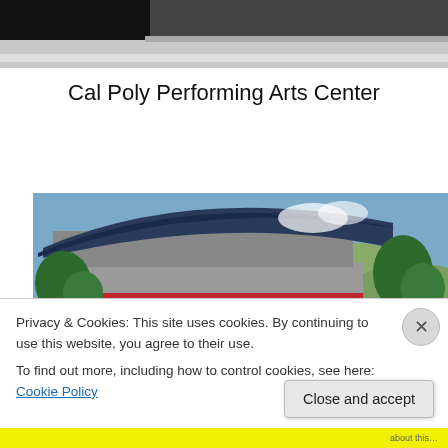[Figure (photo): Top partial photo — dark building/road scene cropped]
Cal Poly Performing Arts Center
[Figure (photo): Exterior photo of Cal Poly Performing Arts Center building — curved modern architecture with blue roof, red accent stripes, trees and hills in background]
Privacy & Cookies: This site uses cookies. By continuing to use this website, you agree to their use.
To find out more, including how to control cookies, see here: Cookie Policy
Close and accept